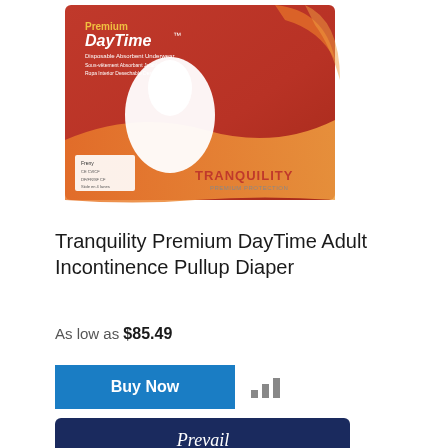[Figure (photo): Tranquility Premium DayTime Disposable Absorbent Underwear product package — red/orange box with white pullup undergarment image and Tranquility Premium Protection branding]
Tranquility Premium DayTime Adult Incontinence Pullup Diaper
As low as $85.49
[Figure (other): Buy Now button (blue) and compare bar chart icon]
[Figure (photo): Prevail FOR MEN product package — dark navy blue packaging, partially visible at bottom of page]